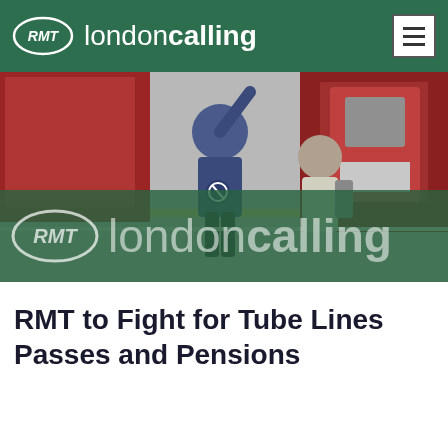RMT londoncalling
[Figure (photo): Screenshot of RMT London Calling website showing a photo of a rail worker on a platform waving alongside a train, with a large semi-transparent green banner overlay showing the RMT londoncalling logo]
RMT to Fight for Tube Lines Passes and Pensions